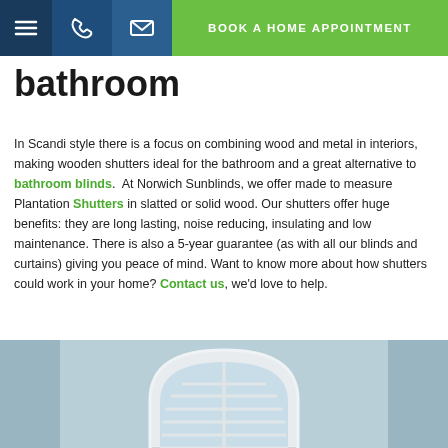BOOK A HOME APPOINTMENT
bathroom
In Scandi style there is a focus on combining wood and metal in interiors, making wooden shutters ideal for the bathroom and a great alternative to bathroom blinds. At Norwich Sunblinds, we offer made to measure Plantation Shutters in slatted or solid wood. Our shutters offer huge benefits: they are long lasting, noise reducing, insulating and low maintenance. There is also a 5-year guarantee (as with all our blinds and curtains) giving you peace of mind. Want to know more about how shutters could work in your home? Contact us, we'd love to help.
[Figure (photo): Circular arch window with white plantation shutters, photographed against a light blue-grey wall]